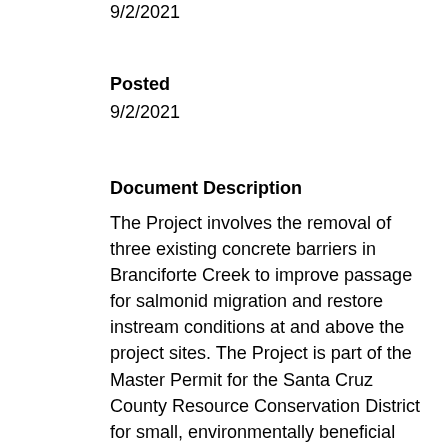9/2/2021
Posted
9/2/2021
Document Description
The Project involves the removal of three existing concrete barriers in Branciforte Creek to improve passage for salmonid migration and restore instream conditions at and above the project sites. The Project is part of the Master Permit for the Santa Cruz County Resource Conservation District for small, environmentally beneficial